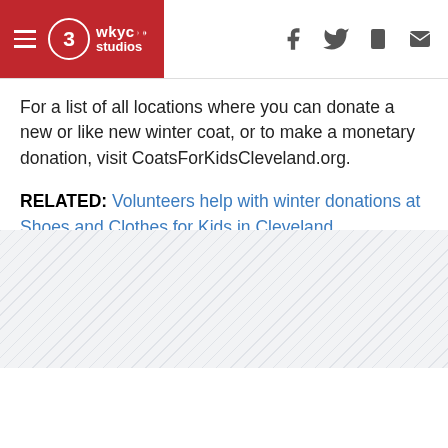WKYC Studios - hamburger menu, logo, social icons (facebook, twitter, mobile, email)
For a list of all locations where you can donate a new or like new winter coat, or to make a monetary donation, visit CoatsForKidsCleveland.org.
RELATED: Volunteers help with winter donations at Shoes and Clothes for Kids in Cleveland
RELATED: Ready for a snowy winter in Northeast Ohio? 3News Meteorologist Michael Estime has your winter weather outlook